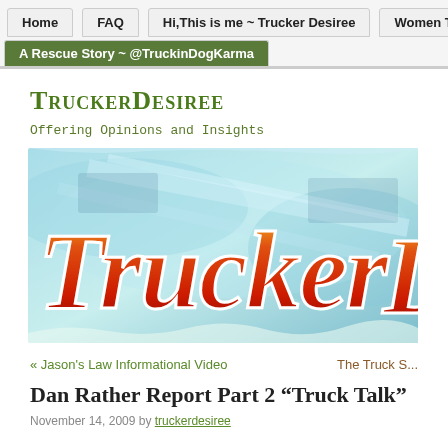Home | FAQ | Hi,This is me ~ Trucker Desiree | Women Tru... | A Rescue Story ~ @TruckinDogKarma
TruckerDesiree
Offering Opinions and Insights
[Figure (illustration): Blog banner image showing stylized old-English/gothic lettering reading 'Trucker' in red/orange gradient on a light blue/teal watercolor background with faint truck imagery]
« Jason's Law Informational Video
The Truck S...
Dan Rather Report Part 2 "Truck Talk"
November 14, 2009 by truckerdesiree